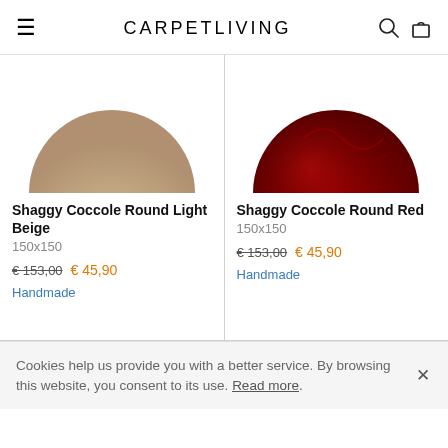CARPETLIVING
[Figure (photo): Semicircular shaggy rug in light beige color, shown from above against white background]
[Figure (photo): Semicircular shaggy rug in deep red color, shown from above against white background]
Shaggy Coccole Round Light Beige
150x150
€ 153,00  € 45,90
Handmade
Shaggy Coccole Round Red
150x150
€ 153,00  € 45,90
Handmade
Cookies help us provide you with a better service. By browsing this website, you consent to its use. Read more.